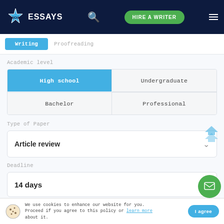WOW ESSAYS | HIRE A WRITER
Writing   Proofreading
Academic level
| High school | Undergraduate |
| --- | --- |
| Bachelor | Professional |
Type of Paper
Article review
Deadline
14 days
We use cookies to enhance our website for you. Proceed if you agree to this policy or learn more about it.